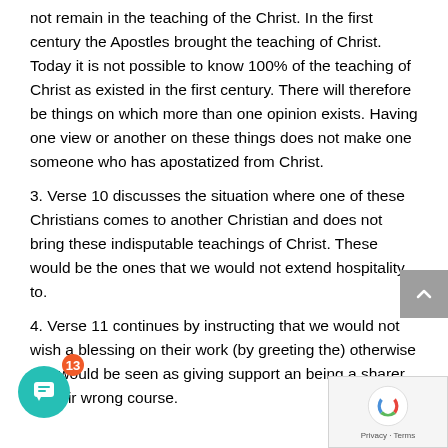not remain in the teaching of the Christ. In the first century the Apostles brought the teaching of Christ. Today it is not possible to know 100% of the teaching of Christ as existed in the first century. There will therefore be things on which more than one opinion exists. Having one view or another on these things does not make one someone who has apostatized from Christ.
3. Verse 10 discusses the situation where one of these Christians comes to another Christian and does not bring these indisputable teachings of Christ. These would be the ones that we would not extend hospitality to.
4. Verse 11 continues by instructing that we would not wish a blessing on their work (by greeting the) otherwise this would be seen as giving support an(d) being a sharer in their wrong course.